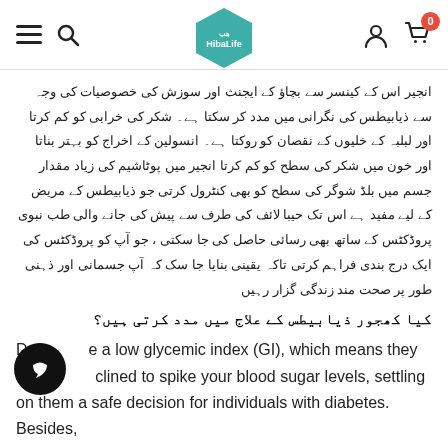HibaLife header with navigation
انجیر اس کے کینسر سے بچاؤ کے ایجنث اور سوزش کی خصوصیات کی وجہ سے ذیابیطس کی نگرانی میں مدد کر سکتا ہے۔ شکر کی خرابی کو کم کرتا اور لبلبہ کے خلیوں کے نقصان کو روکتا ہے۔ انسولین کے اخراج کو بہتر بناتا اور خون میں شکر کی سطح کو کم کرتا انجیر میں پوٹاشیم کی زیاد مقدار جسم میں بلڈ شوگر کی سطح کو بھی کنٹرول کرتی جو ذیابیطس کے مریض کے لیے مفید ہے اس تک حیبا لائف کی طرف سے پیش کی جانے والی طب نبوی پروڈکٹس کے ساتھ بھی رسائی حاصل کی جا سکتی ، جو آپ کو پروڈکٹس کی ایک درج بندی فراہم کرتی تاکہ یقینی بنایا جا سک کہ آپ جسمانی اور ذہنی طور پر صحت مند زندگی گزار رہیں
کیا کھجور ذیابیطس کے علاج میں مدد کرتی ہیں؟
Dates have a low glycemic index (GI), which means they are less inclined to spike your blood sugar levels, settling on them a safe decision for individuals with diabetes. Besides,